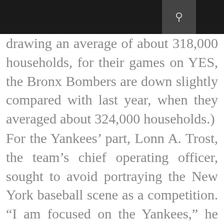drawing an average of about 318,000 households, for their games on YES, the Bronx Bombers are down slightly compared with last year, when they averaged about 324,000 households.)
For the Yankees’ part, Lonn A. Trost, the team’s chief operating officer, sought to avoid portraying the New York baseball scene as a competition. “I am focused on the Yankees,” he said. “I am not looking to measure if Derek Jeter’s T-shirt outsells Marv Throneberry’s.”